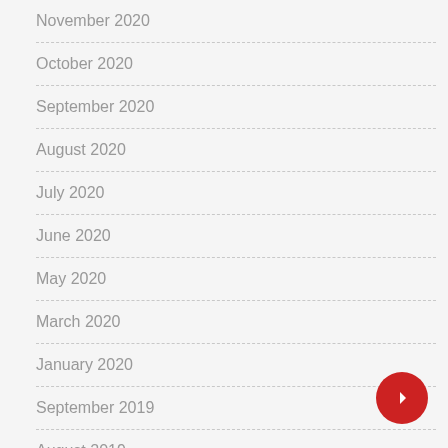November 2020
October 2020
September 2020
August 2020
July 2020
June 2020
May 2020
March 2020
January 2020
September 2019
August 2019
July 2019